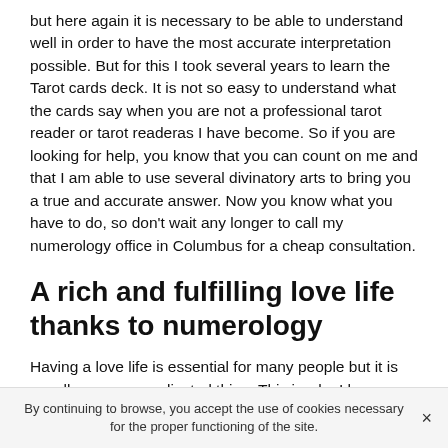but here again it is necessary to be able to understand well in order to have the most accurate interpretation possible. But for this I took several years to learn the Tarot cards deck. It is not so easy to understand what the cards say when you are not a professional tarot reader or tarot readeras I have become. So if you are looking for help, you know that you can count on me and that I am able to use several divinatory arts to bring you a true and accurate answer. Now you know what you have to do, so don't wait any longer to call my numerology office in Columbus for a cheap consultation.
A rich and fulfilling love life thanks to numerology
Having a love life is essential for many people but it is usually a very complicated thing. This is why I have many
By continuing to browse, you accept the use of cookies necessary for the proper functioning of the site.